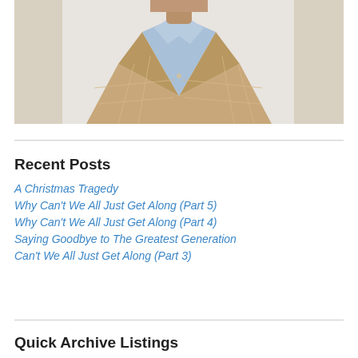[Figure (photo): A man wearing a beige/tan plaid blazer and a light blue collared shirt, photographed from the shoulders up. The background is light-colored and partially visible.]
Recent Posts
A Christmas Tragedy
Why Can't We All Just Get Along (Part 5)
Why Can't We All Just Get Along (Part 4)
Saying Goodbye to The Greatest Generation
Can't We All Just Get Along (Part 3)
Quick Archive Listings